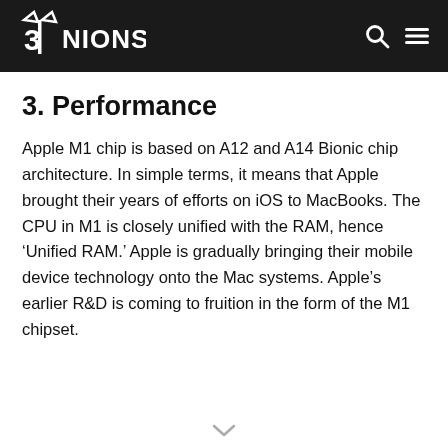3NIONS
3. Performance
Apple M1 chip is based on A12 and A14 Bionic chip architecture. In simple terms, it means that Apple brought their years of efforts on iOS to MacBooks. The CPU in M1 is closely unified with the RAM, hence ‘Unified RAM.’ Apple is gradually bringing their mobile device technology onto the Mac systems. Apple’s earlier R&D is coming to fruition in the form of the M1 chipset.